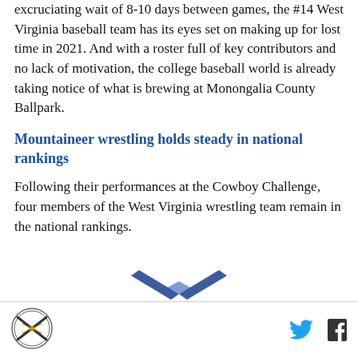excruciating wait of 8-10 days between games, the #14 West Virginia baseball team has its eyes set on making up for lost time in 2021. And with a roster full of key contributors and no lack of motivation, the college baseball world is already taking notice of what is brewing at Monongalia County Ballpark.
Mountaineer wrestling holds steady in national rankings
Following their performances at the Cowboy Challenge, four members of the West Virginia wrestling team remain in the national rankings.
[Figure (logo): Crossed rifles logo icon in circular emblem]
Footer with logo, Twitter icon, and Facebook icon